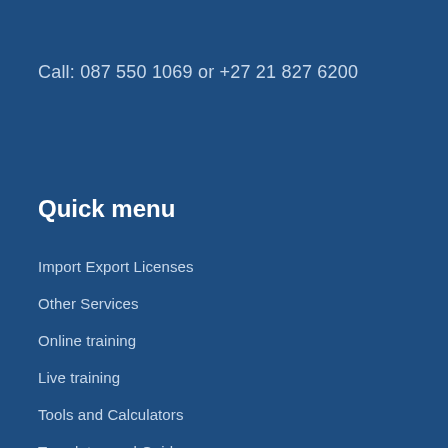Call: 087 550 1069 or +27 21 827 6200
Quick menu
Import Export Licenses
Other Services
Online training
Live training
Tools and Calculators
Templates and Guides